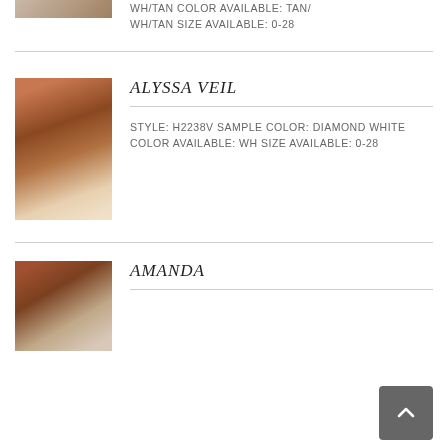WH/TAN COLOR AVAILABLE: TAN/ WH/TAN SIZE AVAILABLE: 0-28
[Figure (photo): Partial view of a bridal gown product image at top of page]
ALYSSA VEIL
[Figure (photo): Bridal veil with floral lace train spread on floor, photographed from behind in a decorated room]
STYLE: H2238V SAMPLE COLOR: DIAMOND WHITE COLOR AVAILABLE: WH SIZE AVAILABLE: 0-28
AMANDA
[Figure (photo): Bride in fitted gown standing in a room with vintage furniture]